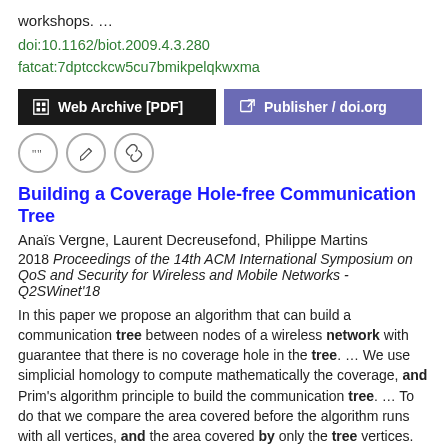workshops.  …
doi:10.1162/biot.2009.4.3.280
fatcat:7dptcckcw5cu7bmikpelqkwxma
[Figure (other): Two buttons: 'Web Archive [PDF]' (black background) and 'Publisher / doi.org' (purple background)]
[Figure (other): Three icon circles: quote, edit, link]
Building a Coverage Hole-free Communication Tree
Anaïs Vergne, Laurent Decreusefond, Philippe Martins
2018 Proceedings of the 14th ACM International Symposium on QoS and Security for Wireless and Mobile Networks - Q2SWinet'18
In this paper we propose an algorithm that can build a communication tree between nodes of a wireless network with guarantee that there is no coverage hole in the tree.  …  We use simplicial homology to compute mathematically the coverage, and Prim's algorithm principle to build the communication tree.  …  To do that we compare the area covered before the algorithm runs with all vertices, and the area covered by only the tree vertices.  …
doi:10.1145/3267129.3267139  dblp:conf/mswim/VergneDM18
fatcat:nqexozcsmrhutphkbaiggmetme